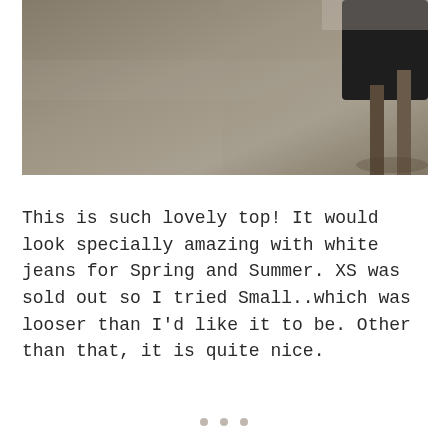[Figure (photo): Indoor photo showing a carpeted floor in grey-brown tones with a black chair partially visible in the upper right corner]
This is such lovely top! It would look specially amazing with white jeans for Spring and Summer. XS was sold out so I tried Small..which was looser than I'd like it to be. Other than that, it is quite nice.